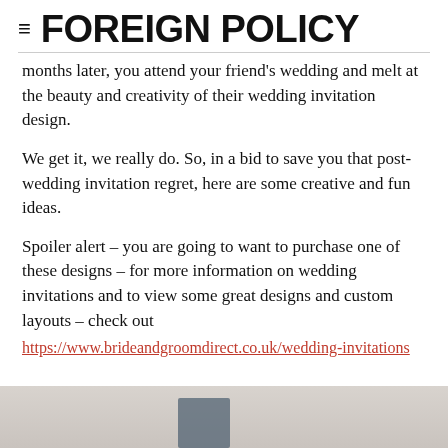≡ FOREIGN POLICY
months later, you attend your friend's wedding and melt at the beauty and creativity of their wedding invitation design.
We get it, we really do. So, in a bid to save you that post-wedding invitation regret, here are some creative and fun ideas.
Spoiler alert – you are going to want to purchase one of these designs – for more information on wedding invitations and to view some great designs and custom layouts – check out https://www.brideandgroomdirect.co.uk/wedding-invitations
[Figure (photo): Partial view of a grey/beige background with a dark blue object, the bottom portion of a wedding invitation photo]